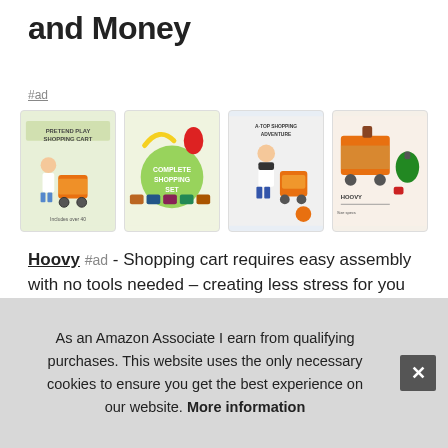and Money
#ad
[Figure (photo): Four product images of a children's toy shopping cart (Hoovy brand) showing the product from different angles, with accessories including toy foods]
Hoovy #ad - Shopping cart requires easy assembly with no tools needed – creating less stress for you and more fun to be had by your little one. They are also able to build on their han... envi... inte... attra...
As an Amazon Associate I earn from qualifying purchases. This website uses the only necessary cookies to ensure you get the best experience on our website. More information